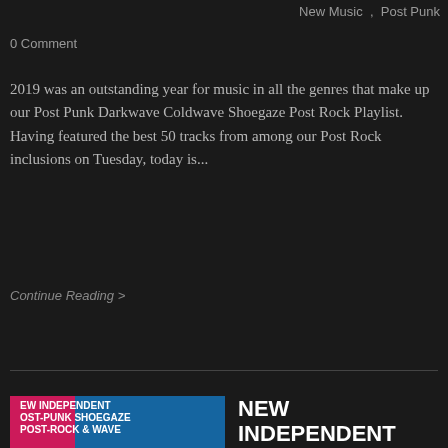New Music , Post Punk
0 Comment
2019 was an outstanding year for music in all the genres that make up our Post Punk Darkwave Coldwave Shoegaze Post Rock Playlist. Having featured the best 50 tracks from among our Post Rock inclusions on Tuesday, today is...
Continue Reading >
[Figure (illustration): Album artwork for New Independent Post-Punk Shoegaze Post-Rock & Wave compilation, with pink and blue design, inc. Darkwave, Coldwave, Synthwave, Motorik, Kosmische Musik]
NEW INDEPENDENT POST-PUNK SHOEGAZE